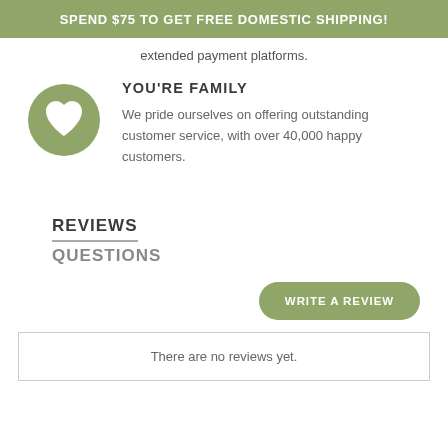SPEND $75 TO GET FREE DOMESTIC SHIPPING!
extended payment platforms.
[Figure (illustration): Green circle with white heart icon in the center]
YOU'RE FAMILY
We pride ourselves on offering outstanding customer service, with over 40,000 happy customers.
REVIEWS
QUESTIONS
WRITE A REVIEW
There are no reviews yet.